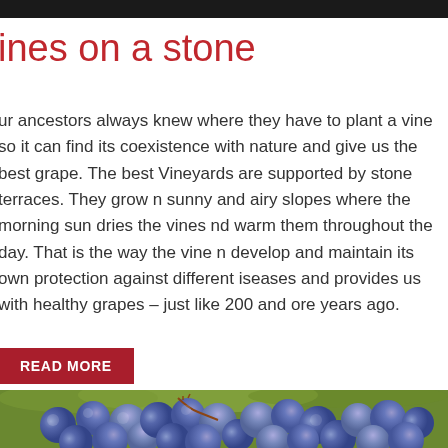Vines on a stone
Our ancestors always knew where they have to plant a vine so it can find its coexistence with nature and give us the best grape. The best Vineyards are supported by stone terraces. They grow on sunny and airy slopes where the morning sun dries the vines and warm them throughout the day. That is the way the vine can develop and maintain its own protection against different diseases and provides us with healthy grapes – just like 200 and more years ago.
READ MORE
[Figure (photo): Close-up photograph of dark blue/purple grapes on the vine with green background]